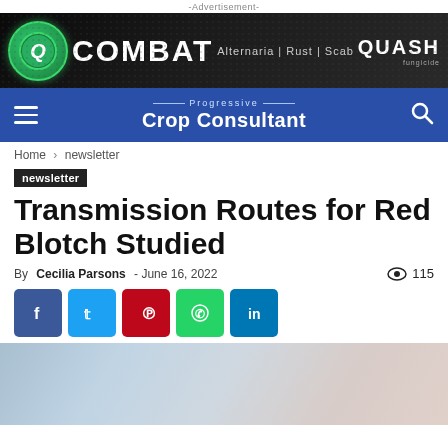-Advertisement-
[Figure (illustration): Advertisement banner for COMBAT fungicide (Alternaria | Rust | Scab) by QUASH fungicides, dark background with green Q logo]
Progressive Crop Consultant
Home › newsletter
newsletter
Transmission Routes for Red Blotch Studied
By Cecilia Parsons - June 16, 2022  👁 115
[Figure (photo): Partially visible blurred photo at bottom of page, appears to show outdoor/agricultural scene]